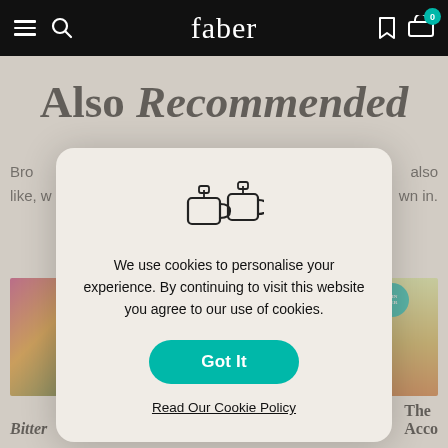faber
Also Recommended
Bro... also like, w... wn in.
[Figure (screenshot): Cookie consent modal dialog on the Faber website, showing a tea/cookie cup icon, cookie policy text, a teal 'Got It' button, and a 'Read Our Cookie Policy' link]
We use cookies to personalise your experience. By continuing to visit this website you agree to our use of cookies.
Got It
Read Our Cookie Policy
Bitter
Friendship According to
The Acco